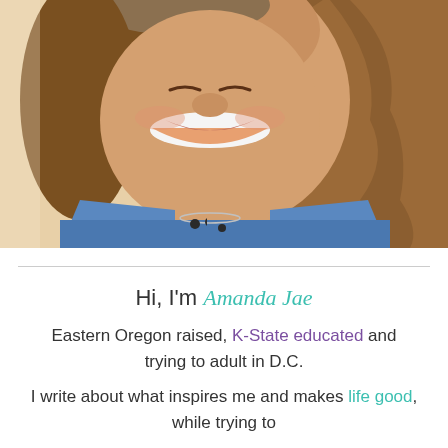[Figure (photo): Close-up portrait photo of a smiling woman with long wavy brown hair, wearing a denim jacket and a moon-phase necklace. Photographed from approximately chin to shoulders, with a warm, light background.]
Hi, I'm Amanda Jae
Eastern Oregon raised, K-State educated and trying to adult in D.C.
I write about what inspires me and makes life good, while trying to